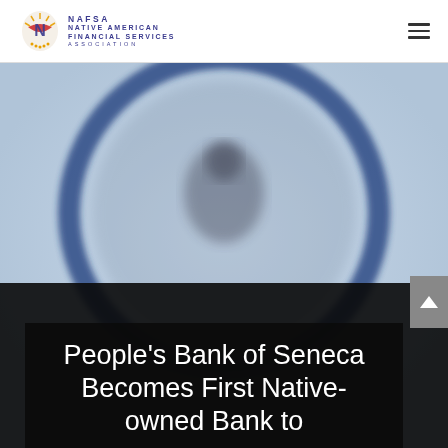Native American Financial Services Association
[Figure (photo): Blurred circular magnifying glass lens on a dark background, large blue ring visible, person silhouette faintly in center]
People's Bank of Seneca Becomes First Native-owned Bank to